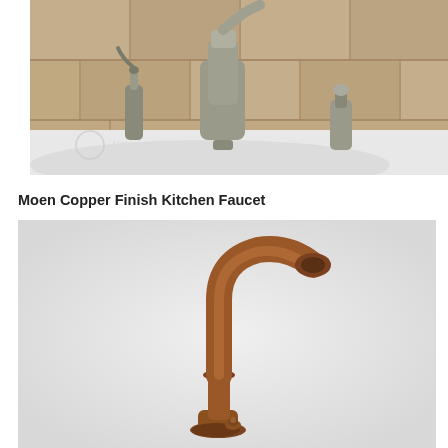[Figure (photo): Close-up photo of a brushed nickel kitchen faucet set with side sprayer on a white sink with stone tile backsplash. Watermark reads NatashasKitchen.com]
Moen Copper Finish Kitchen Faucet
[Figure (photo): Product photo of a Moen copper/oil-rubbed bronze finish kitchen faucet with curved gooseneck spout and single handle on a light gray background]